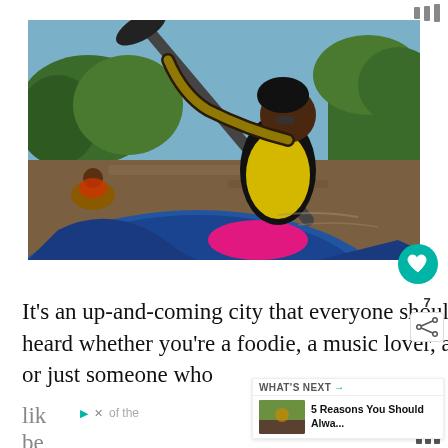[Figure (photo): A person paddling a kayak on a river. The kayaker, wearing a yellow life vest and sunglasses, paddles vigorously. The bow of a blue kayak is prominent in the foreground. Another kayaker is visible in the background on the left. Trees line the far riverbank.]
It’s an up-and-coming city that everyone should have the chance of exploring. I’ve heard whether you’re a foodie, a music lover, an art aficionado, an history buff, or just someone who lik... of the be...